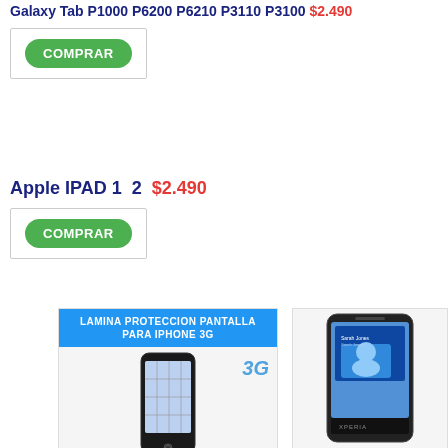Galaxy Tab P1000 P6200 P6210 P3110 P3100 $2.490
[Figure (other): COMPRAR button - green rounded button with white text]
Apple IPAD 1  2  $2.490
[Figure (other): COMPRAR button - green rounded button with white text]
[Figure (photo): Product image showing iPhone 3G with screen protector and blue banner text LAMINA PROTECCION PANTALLA PARA IPHONE 3G, with 3G label]
[Figure (photo): Product image showing Sony Xperia phone with screen protector applied]